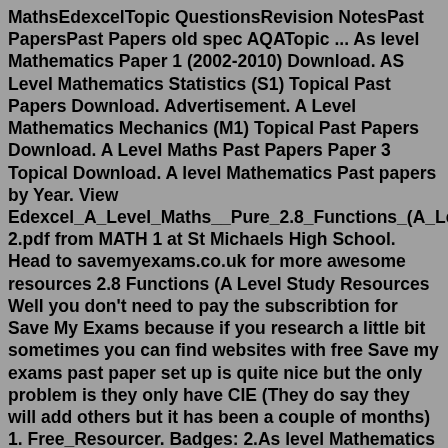MathsEdexcelTopic QuestionsRevision NotesPast PapersPast Papers old spec AQATopic ... As level Mathematics Paper 1 (2002-2010) Download. AS Level Mathematics Statistics (S1) Topical Past Papers Download. Advertisement. A Level Mathematics Mechanics (M1) Topical Past Papers Download. A Level Maths Past Papers Paper 3 Topical Download. A level Mathematics Past papers by Year. View Edexcel_A_Level_Maths__Pure_2.8_Functions_(A_Level_2.pdf from MATH 1 at St Michaels High School. Head to savemyexams.co.uk for more awesome resources 2.8 Functions (A Level Study Resources Well you don't need to pay the subscribtion for Save My Exams because if you research a little bit sometimes you can find websites with free Save my exams past paper set up is quite nice but the only problem is they only have CIE (They do say they will add others but it has been a couple of months) 1. Free_Resourcer. Badges: 2.As level Mathematics Paper 1 (2002-2010) Download. AS Level Mathematics Statistics (S1) Topical Past Papers